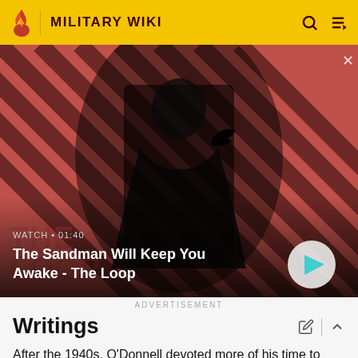MILITARY WIKI
[Figure (screenshot): Video thumbnail showing a dark-robed figure with a crow on their shoulder against a red diagonal striped background. Text overlay: WATCH • 01:40. Title: The Sandman Will Keep You Awake - The Loop. Play button visible.]
ADVERTISEMENT
Writings
After the 1940s, O'Donnell devoted more of his time to writing and culture and less to politics, from which he